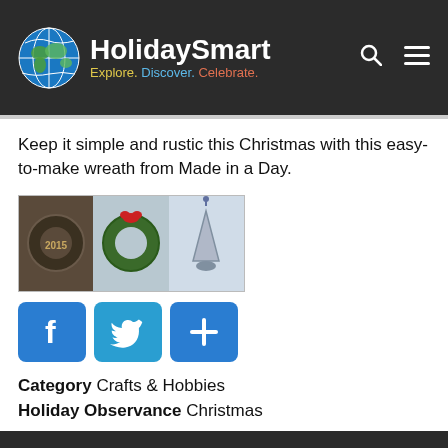HolidaySmart — Explore. Discover. Celebrate.
Keep it simple and rustic this Christmas with this easy-to-make wreath from Made in a Day.
[Figure (photo): Three small Christmas wreath/craft images side by side]
[Figure (infographic): Social sharing buttons: Facebook (f), Twitter (bird), and Share (+)]
Category   Crafts & Hobbies
Holiday Observance   Christmas
We use cookies on this site to enhance your user experience
By clicking the Accept button, you agree to us doing so. More info
Accept   No, thanks